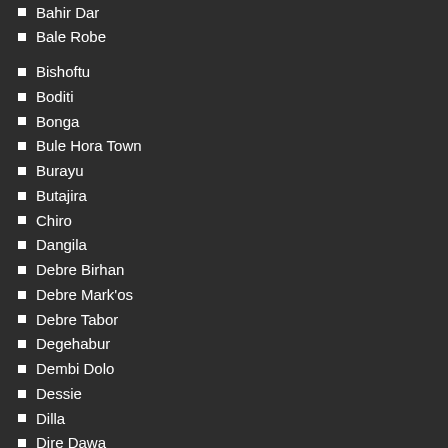Bahir Dar
Bale Robe
Bishoftu
Boditi
Bonga
Bule Hora Town
Burayu
Butajira
Chiro
Dangila
Debre Birhan
Debre Mark'os
Debre Tabor
Degehabur
Dembi Dolo
Dessie
Dilla
Dire Dawa
Durame
Fiche
Finote Selam
Gambela
Gimbi
Goba
Gode
Gondar
Harar
Hawassa